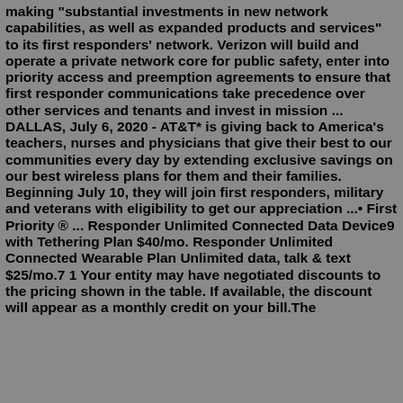making "substantial investments in new network capabilities, as well as expanded products and services" to its first responders' network. Verizon will build and operate a private network core for public safety, enter into priority access and preemption agreements to ensure that first responder communications take precedence over other services and tenants and invest in mission ... DALLAS, July 6, 2020 - AT&T* is giving back to America's teachers, nurses and physicians that give their best to our communities every day by extending exclusive savings on our best wireless plans for them and their families. Beginning July 10, they will join first responders, military and veterans with eligibility to get our appreciation ...• First Priority ® ... Responder Unlimited Connected Data Device9 with Tethering Plan $40/mo. Responder Unlimited Connected Wearable Plan Unlimited data, talk & text $25/mo.7 1 Your entity may have negotiated discounts to the pricing shown in the table. If available, the discount will appear as a monthly credit on your bill.The